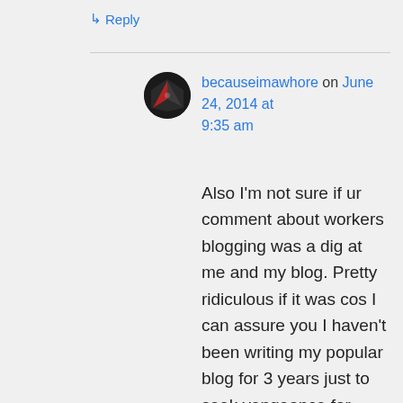↳ Reply
becauseimawhore on June 24, 2014 at 9:35 am
Also I'm not sure if ur comment about workers blogging was a dig at me and my blog. Pretty ridiculous if it was cos I can assure you I haven't been writing my popular blog for 3 years just to seek vengeance for some forum drama via my talented writing skills .. believe it or not clients are not the target audience of this blog or even this post. Actually this post was mostly aimed